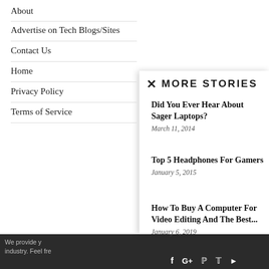About
Advertise on Tech Blogs/Sites
Contact Us
Home
Privacy Policy
Terms of Service
We provide y... industry. Feel fre...
MORE STORIES
Did You Ever Hear About Sager Laptops?
March 11, 2014
Top 5 Headphones For Gamers
January 5, 2015
How To Buy A Computer For Video Editing And The Best...
January 6, 2019